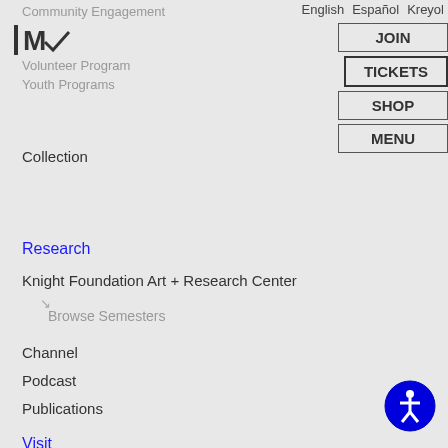Community Engagement
Schools + Tours
Volunteer Program
Youth Programs
English  Español  Kreyol
JOIN
TICKETS
SHOP
MENU
Collection
Research
Knight Foundation Art + Research Center
Browse Semesters
Channel
Podcast
Publications
Visit
Timed Tickets
Parking
[Figure (illustration): Blue circular accessibility icon with a stylized person figure]